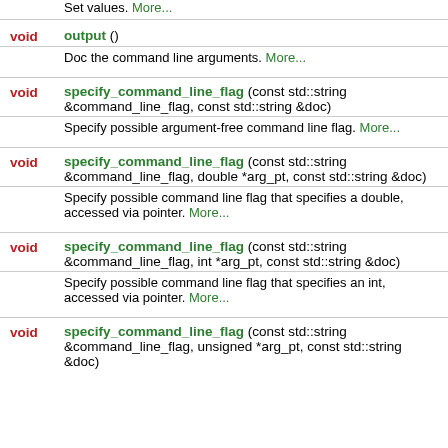Set values. More...
void output () Doc the command line arguments. More...
void specify_command_line_flag (const std::string &command_line_flag, const std::string &doc) Specify possible argument-free command line flag. More...
void specify_command_line_flag (const std::string &command_line_flag, double *arg_pt, const std::string &doc) Specify possible command line flag that specifies a double, accessed via pointer. More...
void specify_command_line_flag (const std::string &command_line_flag, int *arg_pt, const std::string &doc) Specify possible command line flag that specifies an int, accessed via pointer. More...
void specify_command_line_flag (const std::string &command_line_flag, unsigned *arg_pt, const std::string &doc)